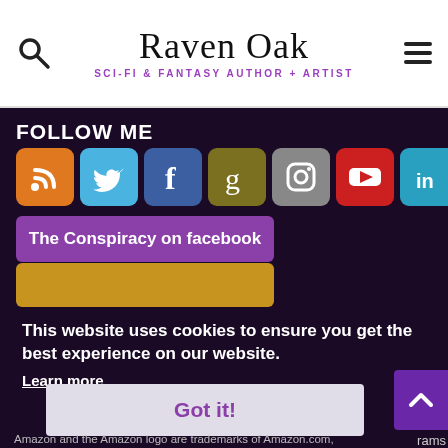Raven Oak — SCI-FI & FANTASY AUTHOR + ARTIST
FOLLOW ME
[Figure (infographic): Row of 8 social media icon buttons: RSS (orange), Twitter (blue), Facebook (blue), Goodreads (olive), Instagram (grey), YouTube (red), LinkedIn (teal), BB (salmon)]
The Conspiracy on facebook
Follow Raven on... (partially visible orange button)
This website uses cookies to ensure you get the best experience on our website.
Learn more
Got it!
Amazon and the Amazon logo are trademarks of Amazon.com, Inc. or its affiliates.